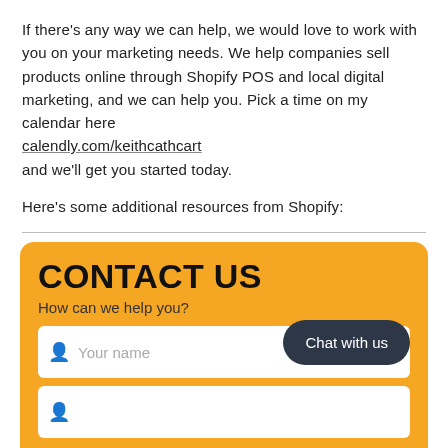If there's any way we can help, we would love to work with you on your marketing needs. We help companies sell products online through Shopify POS and local digital marketing, and we can help you. Pick a time on my calendar here calendly.com/keithcathcart and we'll get you started today.
Here's some additional resources from Shopify:
Local pickup for online orders · Shopify Help Center
Curbside Pickup: A Complete Tutorial for Retailers
[Figure (screenshot): Orange contact us box with title CONTACT US, subtitle 'How can we help you?', a name input field with placeholder 'Your name', and a dark rounded 'Chat with us' button, plus a second input row below.]